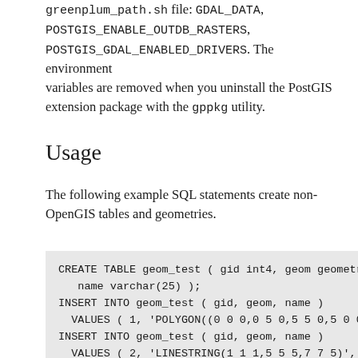greenplum_path.sh file: GDAL_DATA, POSTGIS_ENABLE_OUTDB_RASTERS, POSTGIS_GDAL_ENABLED_DRIVERS. The environment variables are removed when you uninstall the PostGIS extension package with the gppkg utility.
Usage
The following example SQL statements create non-OpenGIS tables and geometries.
CREATE TABLE geom_test ( gid int4, geom geometry,
   name varchar(25) );
INSERT INTO geom_test ( gid, geom, name )
  VALUES ( 1, 'POLYGON((0 0 0,0 5 0,5 5 0,5 0 0,0
INSERT INTO geom_test ( gid, geom, name )
  VALUES ( 2, 'LINESTRING(1 1 1,5 5 5,7 7 5)', '3D
INSERT INTO geom_test ( gid, geom, name )
  VALUES ( 3, 'MULTIPOINT(3 4,8 9)', '2D Aggregate
SELECT * from geom_test WHERE geom &&